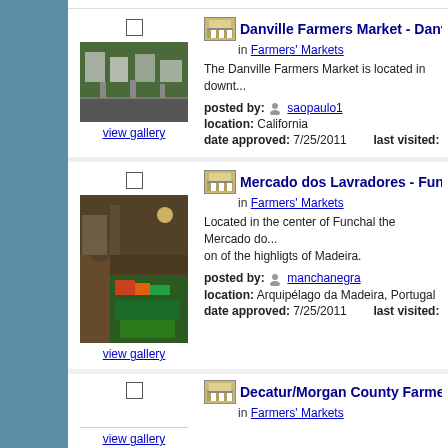[Figure (screenshot): Website listing page showing farmers market entries with thumbnails, checkboxes, titles, categories, descriptions, and metadata]
Danville Farmers Market - Danville, in Farmers' Markets
The Danville Farmers Market is located in downt...
posted by: saopaulo1, location: California, date approved: 7/25/2011, last visited:
Mercado dos Lavradores - Funchal, in Farmers' Markets
Located in the center of Funchal the Mercado do... on of the highligts of Madeira.
posted by: manchanegra, location: Arquipélago da Madeira, Portugal, date approved: 7/25/2011, last visited:
Decatur/Morgan County Farmers M... in Farmers' Markets